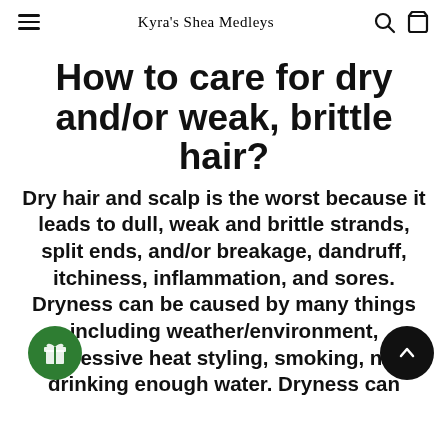Kyra's Shea Medleys
How to care for dry and/or weak, brittle hair?
Dry hair and scalp is the worst because it leads to dull, weak and brittle strands, split ends, and/or breakage, dandruff, itchiness, inflammation, and sores. Dryness can be caused by many things including weather/environment, excessive heat styling, smoking, not drinking enough water. Dryness can